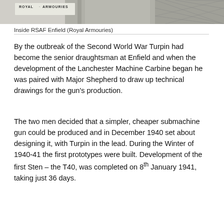[Figure (photo): Partial view of inside RSAF Enfield building with Royal Armouries signage, showing structural elements and mesh/netting.]
Inside RSAF Enfield (Royal Armouries)
By the outbreak of the Second World War Turpin had become the senior draughtsman at Enfield and when the development of the Lanchester Machine Carbine began he was paired with Major Shepherd to draw up technical drawings for the gun’s production.
The two men decided that a simpler, cheaper submachine gun could be produced and in December 1940 set about designing it, with Turpin in the lead. During the Winter of 1940-41 the first prototypes were built. Development of the first Sten – the T40, was completed on 8th January 1941, taking just 36 days.